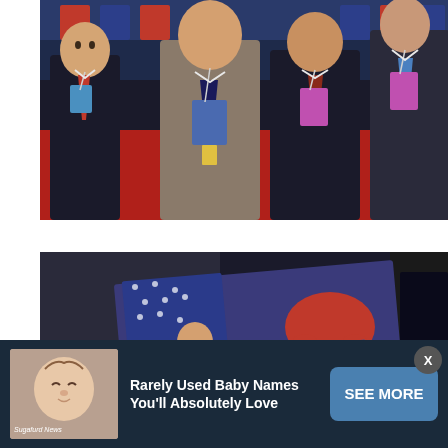[Figure (photo): Group of men in suits with convention badges walking on a red carpet at what appears to be the Republican National Convention]
[Figure (photo): RNC 2016 convention memorabilia and items on a dark background, including a flag and Republican elephant imagery]
[Figure (photo): Advertisement banner: 'Rarely Used Baby Names You'll Absolutely Love' with SEE MORE button and Sugafurd News logo, showing image of sleeping baby]